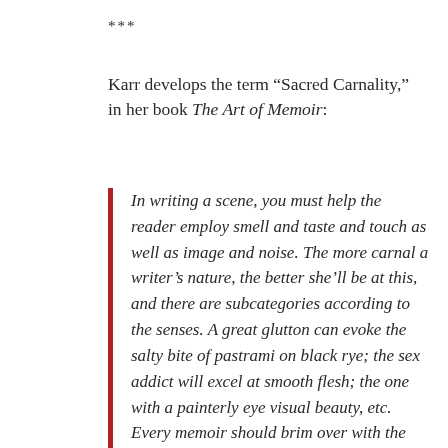***
Karr develops the term “Sacred Carnality,” in her book The Art of Memoir:
In writing a scene, you must help the reader employ smell and taste and touch as well as image and noise. The more carnal a writer’s nature, the better she’ll be at this, and there are subcategories according to the senses. A great glutton can evoke the salty bite of pastrami on black rye; the sex addict will excel at smooth flesh; the one with a painterly eye visual beauty, etc. Every memoir should brim over with the physical experiences that once streamed in—the smell of garlicky gumbo, your hand in an animal’s fur, the ocean’s phosphor lighting up bodies underwater all acid green. Of all memoir’s five